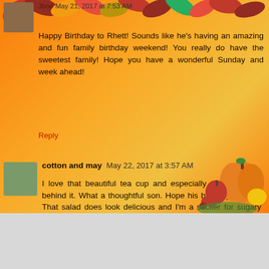Jboo May 21, 2017 at 7:53 AM
Happy Birthday to Rhett! Sounds like he's having an amazing and fun family birthday weekend! You really do have the sweetest family! Hope you have a wonderful Sunday and week ahead!
Reply
cotton and may  May 22, 2017 at 3:57 AM
I love that beautiful tea cup and especially the sentiment behind it. What a thoughtful son. Hope his birthday is lest... That salad does look delicious and I'm a sucker for sugary drinks too: Lemonade, Sweet Tea... mmmmm :)
Reply
Enter Comment
Thanks so much for saying hello!